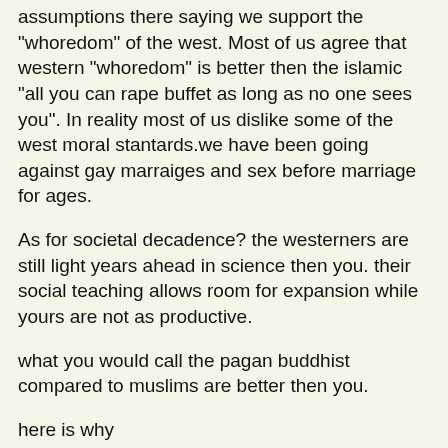assumptions there saying we support the "whoredom" of the west. Most of us agree that western "whoredom" is better then the islamic "all you can rape buffet as long as no one sees you". In reality most of us dislike some of the west moral stantards.we have been going against gay marraiges and sex before marriage for ages.
As for societal decadence? the westerners are still light years ahead in science then you. their social teaching allows room for expansion while yours are not as productive.
what you would call the pagan buddhist compared to muslims are better then you.
here is why
1.muslims lets you have many wives, not to mention the rape all you want as long as you leave no witinesses to take advatage of you backward system. Buddhist advises you to remain a virgin and avoid lust. Oh btw i will further exapand on my previous argument from my